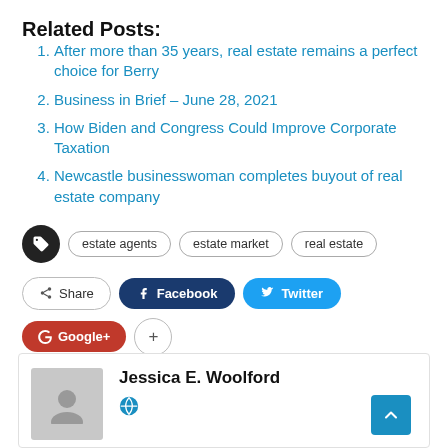Related Posts:
After more than 35 years, real estate remains a perfect choice for Berry
Business in Brief – June 28, 2021
How Biden and Congress Could Improve Corporate Taxation
Newcastle businesswoman completes buyout of real estate company
Tags: estate agents, estate market, real estate
Share | Facebook | Twitter | Google+
Jessica E. Woolford